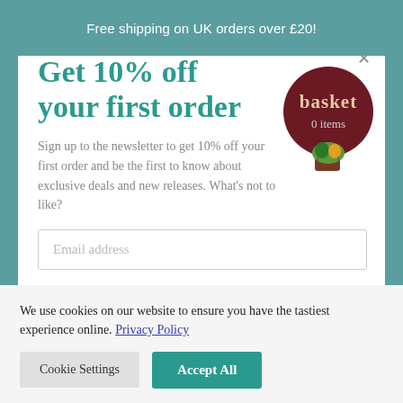Free shipping on UK orders over £20!
Get 10% off your first order
Sign up to the newsletter to get 10% off your first order and be the first to know about exclusive deals and new releases. What's not to like?
[Figure (illustration): Dark maroon circular basket/hot-air balloon badge with text 'basket' and '0 items']
Email address
We use cookies on our website to ensure you have the tastiest experience online. Privacy Policy
Cookie Settings
Accept All